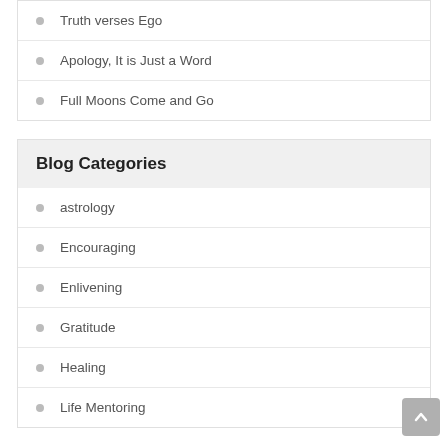Truth verses Ego
Apology, It is Just a Word
Full Moons Come and Go
Blog Categories
astrology
Encouraging
Enlivening
Gratitude
Healing
Life Mentoring